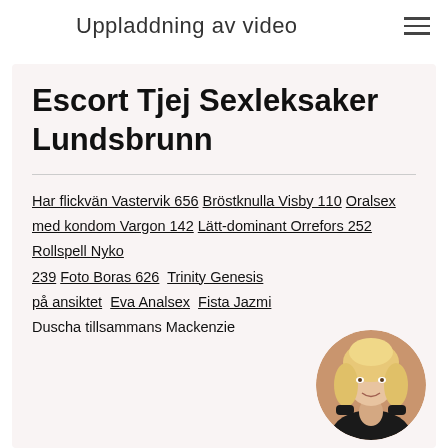Uppladdning av video
Escort Tjej Sexleksaker Lundsbrunn
Har flickvän Vastervik 656 Bröstknulla Visby 110 Oralsex med kondom Vargon 142 Lätt-dominant Orrefors 252 Rollspell Nyko 239 Foto Boras 626 Trinity Genesis på ansiktet Eva Analsex Fista Jazmi Duscha tillsammans Mackenzie
[Figure (photo): Circular portrait photo of a blonde woman smiling, wearing black accessories, positioned at bottom right]